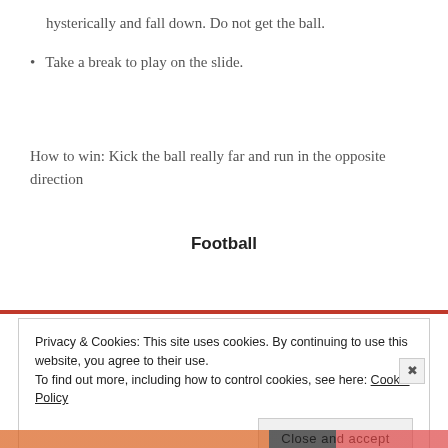hysterically and fall down. Do not get the ball.
Take a break to play on the slide.
How to win: Kick the ball really far and run in the opposite direction
Football
Privacy & Cookies: This site uses cookies. By continuing to use this website, you agree to their use.
To find out more, including how to control cookies, see here: Cookie Policy
Close and accept